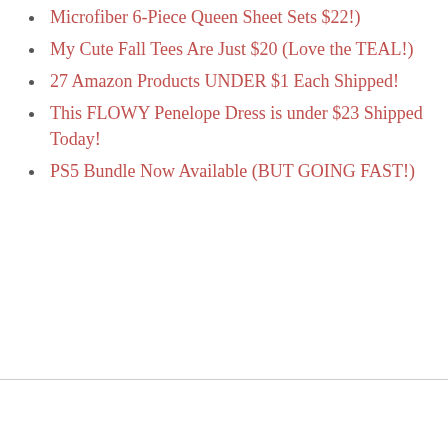Microfiber 6-Piece Queen Sheet Sets $22!)
My Cute Fall Tees Are Just $20 (Love the TEAL!)
27 Amazon Products UNDER $1 Each Shipped!
This FLOWY Penelope Dress is under $23 Shipped Today!
PS5 Bundle Now Available (BUT GOING FAST!)